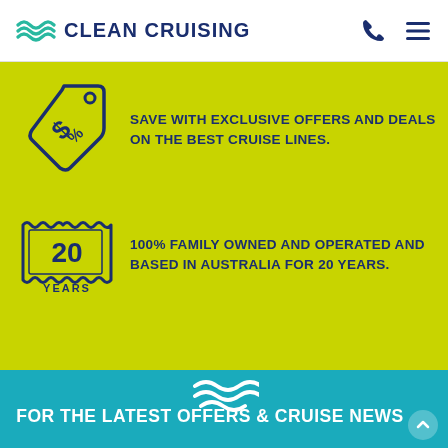[Figure (logo): Clean Cruising logo with wave icon and company name in navy blue]
SAVE WITH EXCLUSIVE OFFERS AND DEALS ON THE BEST CRUISE LINES.
[Figure (illustration): Price tag icon with dollar sign in dark navy outline style on yellow-green background]
100% FAMILY OWNED AND OPERATED AND BASED IN AUSTRALIA FOR 20 YEARS.
[Figure (illustration): 20 YEARS badge/stamp icon in dark navy outline style on yellow-green background]
[Figure (logo): Clean Cruising wave logo in white on teal background]
FOR THE LATEST OFFERS & CRUISE NEWS